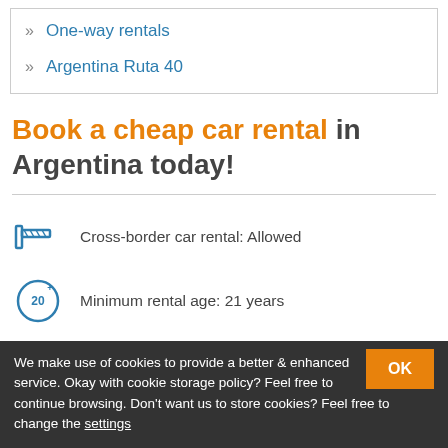One-way rentals
Argentina Ruta 40
Book a cheap car rental in Argentina today!
Cross-border car rental: Allowed
Minimum rental age: 21 years
Minimum driving experience: 2 years
We make use of cookies to provide a better & enhanced service. Okay with cookie storage policy? Feel free to continue browsing. Don't want us to store cookies? Feel free to change the settings
OK